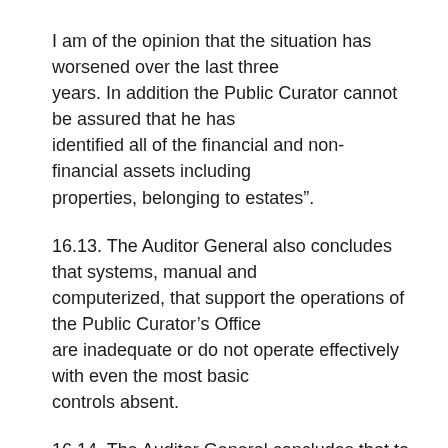I am of the opinion that the situation has worsened over the last three years. In addition the Public Curator cannot be assured that he has identified all of the financial and non-financial assets including properties, belonging to estates”.
16.13. The Auditor General also concludes that systems, manual and computerized, that support the operations of the Public Curator’s Office are inadequate or do not operate effectively with even the most basic controls absent.
16.14. The Auditor General concludes that to accurately determine and finalise